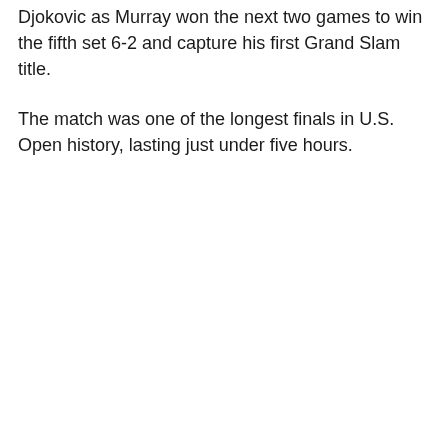Djokovic as Murray won the next two games to win the fifth set 6-2 and capture his first Grand Slam title.
The match was one of the longest finals in U.S. Open history, lasting just under five hours.